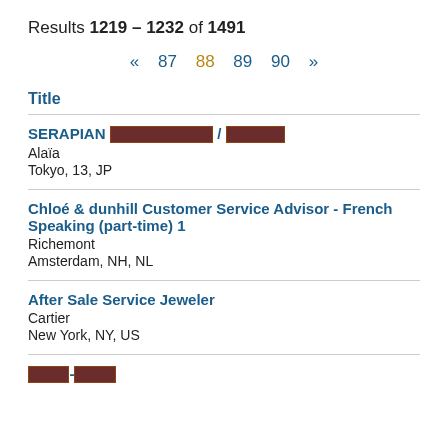Results 1219 – 1232 of 1491
« 87 88 89 90 »
Title
SERAPIAN [scrambled] / [scrambled]
Alaïa
Tokyo, 13, JP
Chloé & dunhill Customer Service Advisor - French Speaking (part-time) 1
Richemont
Amsterdam, NH, NL
After Sale Service Jeweler
Cartier
New York, NY, US
[scrambled]